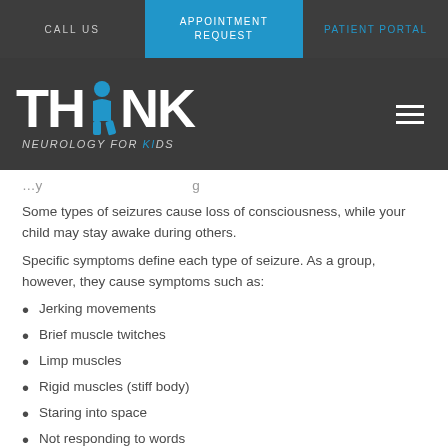CALL US | APPOINTMENT REQUEST | PATIENT PORTAL
[Figure (logo): THINK Neurology For Kids logo with blue figure seated, on dark grey background]
Some types of seizures cause loss of consciousness, while your child may stay awake during others.
Specific symptoms define each type of seizure. As a group, however, they cause symptoms such as:
Jerking movements
Brief muscle twitches
Limp muscles
Rigid muscles (stiff body)
Staring into space
Not responding to words
Repetitive movements